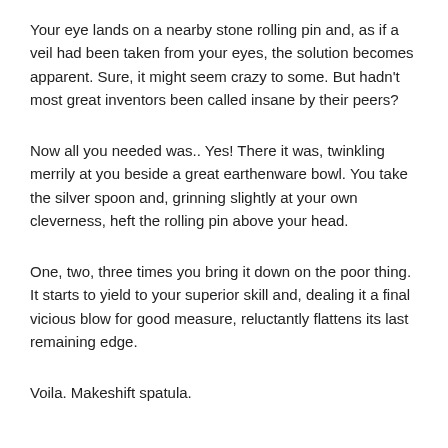Your eye lands on a nearby stone rolling pin and, as if a veil had been taken from your eyes, the solution becomes apparent. Sure, it might seem crazy to some. But hadn't most great inventors been called insane by their peers?
Now all you needed was.. Yes! There it was, twinkling merrily at you beside a great earthenware bowl. You take the silver spoon and, grinning slightly at your own cleverness, heft the rolling pin above your head.
One, two, three times you bring it down on the poor thing. It starts to yield to your superior skill and, dealing it a final vicious blow for good measure, reluctantly flattens its last remaining edge.
Voila. Makeshift spatula.